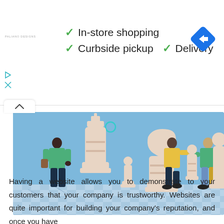[Figure (screenshot): Google Maps-style ad banner showing shopping options: In-store shopping, Curbside pickup, Delivery with checkmarks, and a blue navigation arrow icon. Small logo text on left, play/close controls below logo.]
[Figure (illustration): Illustration of people on a chess board moving large chess pieces (king, queen, knight, pawn) against a blue background with a checkered floor pattern.]
Having a website allows you to demonstrate to your customers that your company is trustworthy. Websites are quite important for building your company's reputation, and once you have